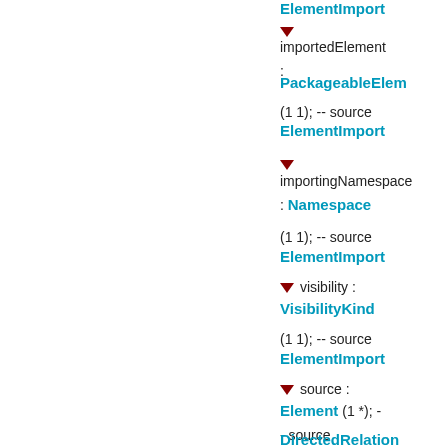ElementImport (truncated top)
▼
importedElement
:
PackageableElement
(1 1); -- source
ElementImport
▼
importingNamespace
: Namespace
(1 1); -- source
ElementImport
▼ visibility :
VisibilityKind
(1 1); -- source
ElementImport
▼ source :
Element (1 *); -
- source
DirectedRelation (truncated bottom)